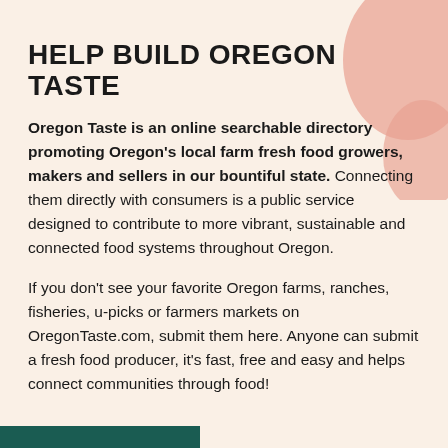HELP BUILD OREGON TASTE
Oregon Taste is an online searchable directory promoting Oregon's local farm fresh food growers, makers and sellers in our bountiful state. Connecting them directly with consumers is a public service designed to contribute to more vibrant, sustainable and connected food systems throughout Oregon.
If you don't see your favorite Oregon farms, ranches, fisheries, u-picks or farmers markets on OregonTaste.com, submit them here. Anyone can submit a fresh food producer, it's fast, free and easy and helps connect communities through food!